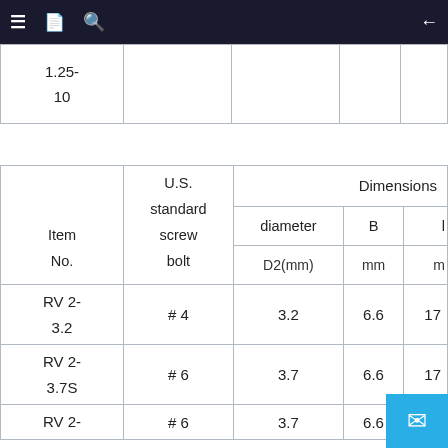≡  [icon]  🔍  ←
|  |  |  |  |  |
| --- | --- | --- | --- | --- |
| 1.25-
10 |  |  |  |  |
| Item No. | U.S. standard screw bolt | diameter D2(mm) | B mm | D m |
| --- | --- | --- | --- | --- |
| RV 2-
3.2 | # 4 | 3.2 | 6.6 | 17 |
| RV 2-
3.7S | # 6 | 3.7 | 6.6 | 17 |
| RV 2- | # 6 | 3.7 | 6.6 |  |